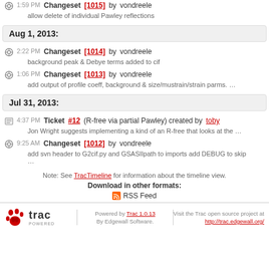1:59 PM Changeset [1015] by vondreele — allow delete of individual Pawley reflections
Aug 1, 2013:
2:22 PM Changeset [1014] by vondreele — background peak & Debye terms added to cif
1:06 PM Changeset [1013] by vondreele — add output of profile coeff, background & size/mustrain/strain parms. …
Jul 31, 2013:
4:37 PM Ticket #12 (R-free via partial Pawley) created by toby — Jon Wright suggests implementing a kind of an R-free that looks at the …
9:25 AM Changeset [1012] by vondreele — add svn header to G2cif.py and GSASIIpath to imports add DEBUG to skip …
Note: See TracTimeline for information about the timeline view.
Download in other formats:
RSS Feed
Powered by Trac 1.0.13 By Edgewall Software. Visit the Trac open source project at http://trac.edgewall.org/